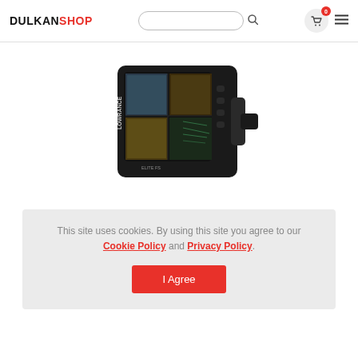DULKANSHOP
[Figure (photo): Lowrance Elite fish finder / sonar device with screen showing sonar readings, mounted at an angle]
This site uses cookies. By using this site you agree to our Cookie Policy and Privacy Policy.
I Agree